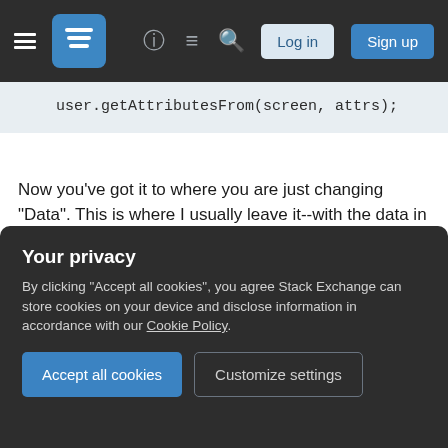Stack Exchange navigation bar with hamburger menu, logo, help, chat, search icons, Log in and Sign up buttons
Now you've got it to where you are just changing "Data". This is where I usually leave it--with the data in the code--because it's "Good enough". The next step is to externalize the data if that is ever needed, so that you can read it from a text file, but it rarely is. Refactorings "Roll up" like this a lot once you get into the habit, and what I just did there^ created a new enum and pattern that will end up rolling in many other refactorings.
Your privacy
By clicking "Accept all cookies", you agree Stack Exchange can store cookies on your device and disclose information in accordance with our Cookie Policy.
Accept all cookies
Customize settings
device--in VB 3. It just takes dedication to the